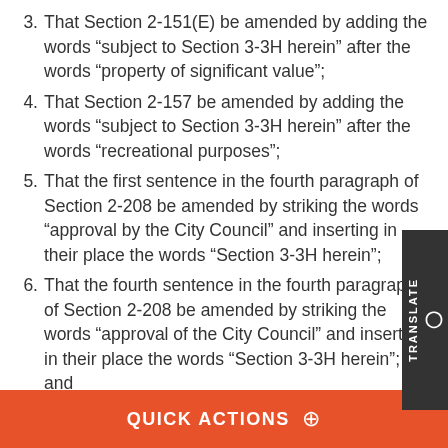3. That Section 2-151(E) be amended by adding the words “subject to Section 3-3H herein” after the words “property of significant value”;
4. That Section 2-157 be amended by adding the words “subject to Section 3-3H herein” after the words “recreational purposes”;
5. That the first sentence in the fourth paragraph of Section 2-208 be amended by striking the words “approval by the City Council” and inserting in their place the words “Section 3-3H herein”;
6. That the fourth sentence in the fourth paragraph of Section 2-208 be amended by striking the words “approval of the City Council” and inserting in their place the words “Section 3-3H herein”; and
7. That a new Section 3-3H entitled “Acceptance of Grants, Gifts and Bequests” be added as follows:
QUICK ACTIONS ⊕